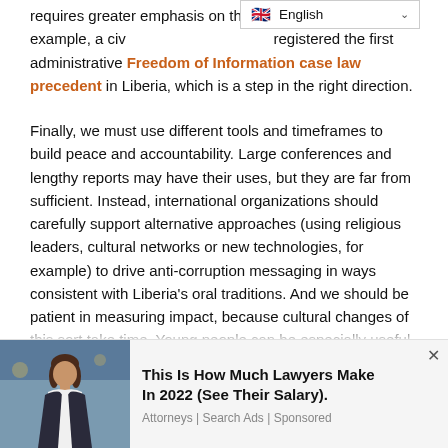requires greater emphasis on the existing laws – for example, a civil society organization registered the first administrative Freedom of Information case law precedent in Liberia, which is a step in the right direction.
Finally, we must use different tools and timeframes to build peace and accountability. Large conferences and lengthy reports may have their uses, but they are far from sufficient. Instead, international organizations should carefully support alternative approaches (using religious leaders, cultural networks or new technologies, for example) to drive anti-corruption messaging in ways consistent with Liberia's oral traditions. And we should be patient in measuring impact, because cultural changes of this sort take time. Young people can be especially useful to these efforts
[Figure (photo): Advertisement banner at bottom of page showing a woman in professional attire with text 'This Is How Much Lawyers Make In 2022 (See Their Salary). Attorneys | Search Ads | Sponsored']